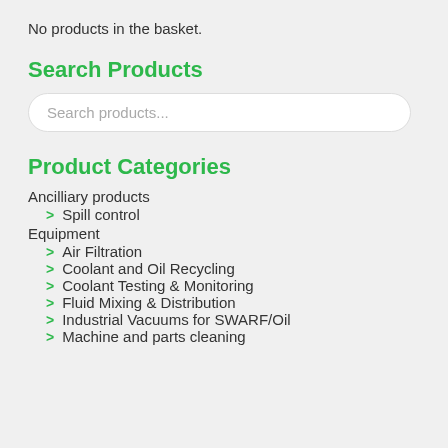No products in the basket.
Search Products
Search products...
Product Categories
Ancilliary products
> Spill control
Equipment
> Air Filtration
> Coolant and Oil Recycling
> Coolant Testing & Monitoring
> Fluid Mixing & Distribution
> Industrial Vacuums for SWARF/Oil
> Machine and parts cleaning